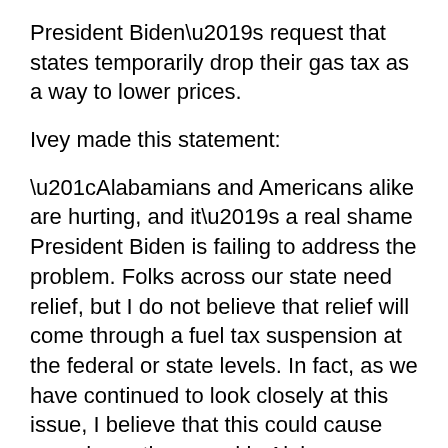President Biden’s request that states temporarily drop their gas tax as a way to lower prices.
Ivey made this statement:
“Alabamians and Americans alike are hurting, and it’s a real shame President Biden is failing to address the problem. Folks across our state need relief, but I do not believe that relief will come through a fuel tax suspension at the federal or state levels. In fact, as we have continued to look closely at this issue, I believe that this could cause more harm than good in Alabama, ultimately costing taxpayers.
“President Biden could not be more hard-headed on the issue of American energy independence,